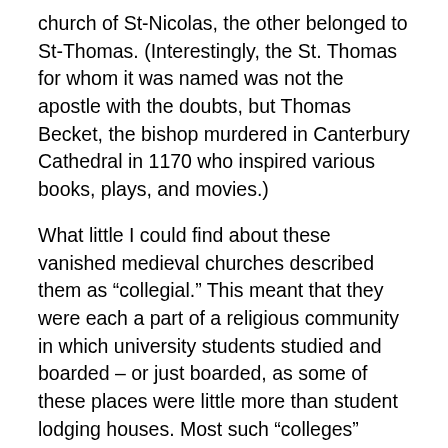church of St-Nicolas, the other belonged to St-Thomas. (Interestingly, the St. Thomas for whom it was named was not the apostle with the doubts, but Thomas Becket, the bishop murdered in Canterbury Cathedral in 1170 who inspired various books, plays, and movies.)
What little I could find about these vanished medieval churches described them as “collegial.” This meant that they were each a part of a religious community in which university students studied and boarded – or just boarded, as some of these places were little more than student lodging houses. Most such “colleges” disappeared during the 18th century (unlike their counterparts in Oxford and Cambridge).
The tower of St-Thomas fell down in 1739, whereupon the two establishments were merged, St-Thomas was rebuilt,